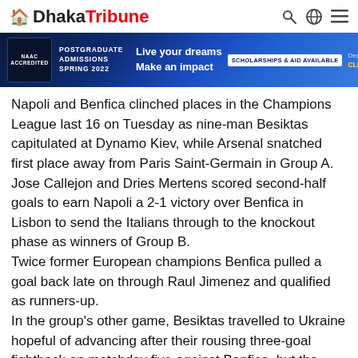Dhaka Tribune
[Figure (other): Advertisement banner for AAAC Postgraduate Admissions Spring 2022. Text: POSTGRADUATE ADMISSIONS SPRING 2022. Live your dreams Make an impact. SCHOLARSHIPS & AID AVAILABLE. Deadline: 3 January, 2022. CLICK HERE & APPLY!]
Napoli and Benfica clinched places in the Champions League last 16 on Tuesday as nine-man Besiktas capitulated at Dynamo Kiev, while Arsenal snatched first place away from Paris Saint-Germain in Group A. Jose Callejon and Dries Mertens scored second-half goals to earn Napoli a 2-1 victory over Benfica in Lisbon to send the Italians through to the knockout phase as winners of Group B.
Twice former European champions Benfica pulled a goal back late on through Raul Jimenez and qualified as runners-up.
In the group's other game, Besiktas travelled to Ukraine hopeful of advancing after their rousing three-goal fightback on matchday five against Benfica, but the Turkish champions unravelled in a disastrous first half. Artem Besedin bundled in Dynamo's opener on nine minutes at the Olympic Stadium and Besiktas suffered a critical blow on the half hour with Andreas Beck sent